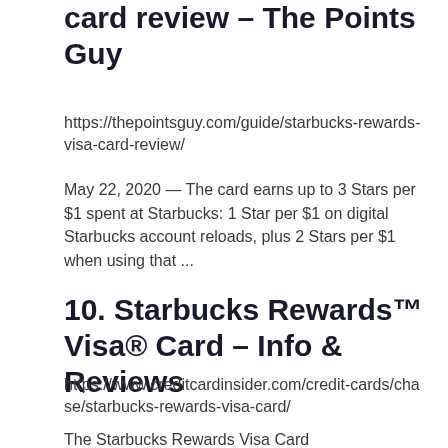card review – The Points Guy
https://thepointsguy.com/guide/starbucks-rewards-visa-card-review/
May 22, 2020 — The card earns up to 3 Stars per $1 spent at Starbucks: 1 Star per $1 on digital Starbucks account reloads, plus 2 Stars per $1 when using that ...
10. Starbucks Rewards™ Visa® Card – Info & Reviews
https://www.creditcardinsider.com/credit-cards/chase/starbucks-rewards-visa-card/
The Starbucks Rewards Visa Card...